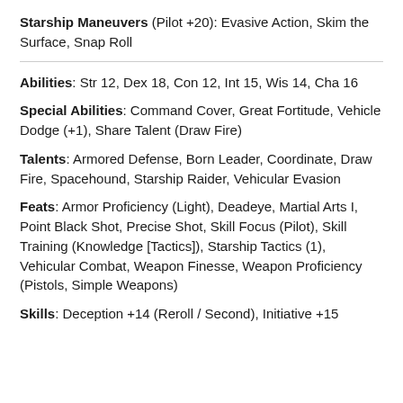Starship Maneuvers (Pilot +20): Evasive Action, Skim the Surface, Snap Roll
Abilities: Str 12, Dex 18, Con 12, Int 15, Wis 14, Cha 16
Special Abilities: Command Cover, Great Fortitude, Vehicle Dodge (+1), Share Talent (Draw Fire)
Talents: Armored Defense, Born Leader, Coordinate, Draw Fire, Spacehound, Starship Raider, Vehicular Evasion
Feats: Armor Proficiency (Light), Deadeye, Martial Arts I, Point Black Shot, Precise Shot, Skill Focus (Pilot), Skill Training (Knowledge [Tactics]), Starship Tactics (1), Vehicular Combat, Weapon Finesse, Weapon Proficiency (Pistols, Simple Weapons)
Skills: Deception +14 (Reroll / Second), Initiative +15